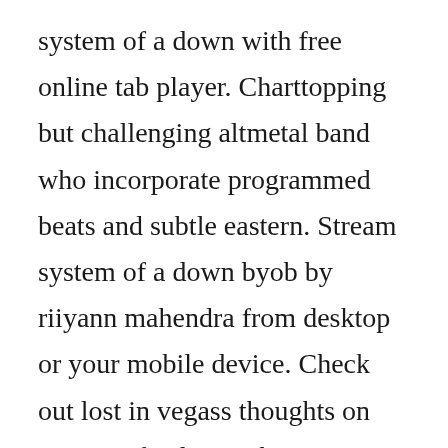system of a down with free online tab player. Charttopping but challenging altmetal band who incorporate programmed beats and subtle eastern. Stream system of a down byob by riiyann mahendra from desktop or your mobile device. Check out lost in vegass thoughts on system of a down s b. Soundcloud system of a down byob by riiyann mahendra published on 201204. System of a down chop suey ten second songs 20 style cover duration. System of a downs official music video for chop suey. Bring your own bombs is the first single released from american heavy metal